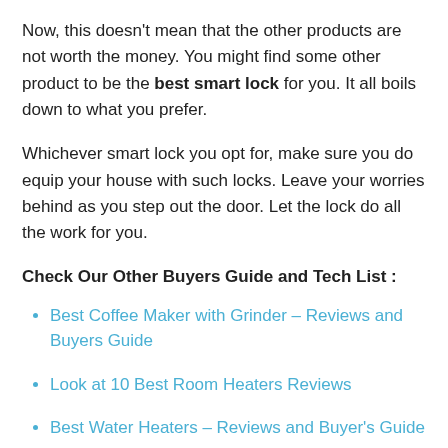Now, this doesn't mean that the other products are not worth the money. You might find some other product to be the best smart lock for you. It all boils down to what you prefer.
Whichever smart lock you opt for, make sure you do equip your house with such locks. Leave your worries behind as you step out the door. Let the lock do all the work for you.
Check Our Other Buyers Guide and Tech List :
Best Coffee Maker with Grinder – Reviews and Buyers Guide
Look at 10 Best Room Heaters Reviews
Best Water Heaters – Reviews and Buyer's Guide